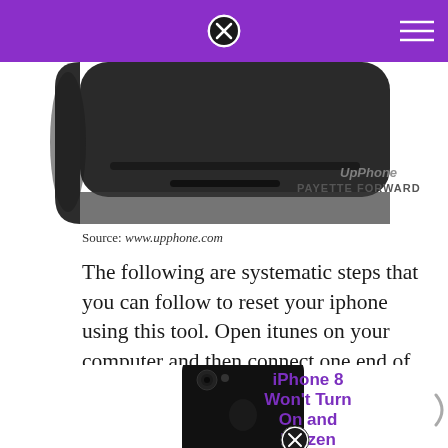[Figure (photo): Bottom portion of a dark-colored iPhone showing the bottom bezel and charging port, with watermark text 'UpPhone PAYETTE FORWARD' in the lower right corner]
Source: www.upphone.com
The following are systematic steps that you can follow to reset your iphone using this tool. Open itunes on your computer and then connect one end of the usb/lightning cable to the computer.
[Figure (photo): Back of a black iPhone 7/8 device, partially visible, with promotional text 'iPhone 8 Won't Turn On and Frozen' in purple to the right]